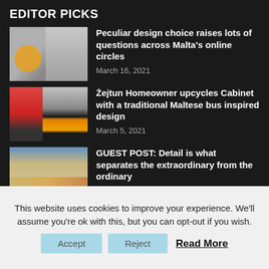EDITOR PICKS
[Figure (photo): Thumbnail image of a building with a cartoon bear emoji overlay]
Peculiar design choice raises lots of questions across Malta's online circles
March 16, 2021
[Figure (photo): Thumbnail image of a traditional Maltese bus, orange and yellow]
Żejtun Homeowner upcycles Cabinet with a traditional Maltese bus inspired design
March 5, 2021
[Figure (photo): Thumbnail image of colorful Maltese townhouses]
GUEST POST: Detail is what separates the extraordinary from the ordinary
March 3, 2021
This website uses cookies to improve your experience. We'll assume you're ok with this, but you can opt-out if you wish.
Accept
Reject
Read More